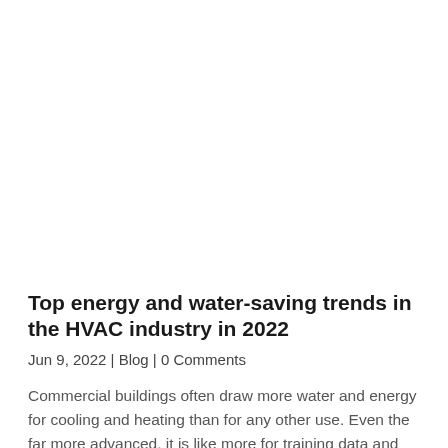[Figure (photo): Large image area at top of page (appears blank/white in this render)]
Top energy and water-saving trends in the HVAC industry in 2022
Jun 9, 2022 | Blog | 0 Comments
Commercial buildings often draw more water and energy for cooling and heating than for any other use. Even the far more advanced, it is like more for training data and R&D facilities